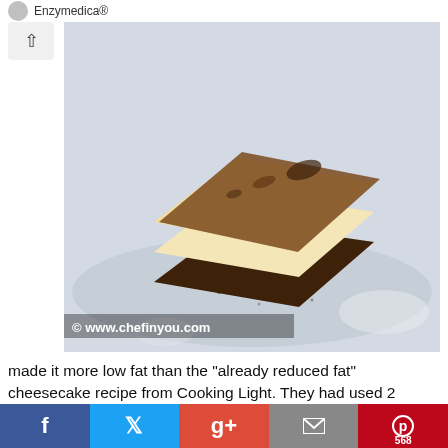Enzymedica®
[Figure (photo): A piece of layered cheesecake with chocolate brownie base and cocoa dusted top, on a white plate. Watermark: © www.chefinyou.com]
made it more low fat than the "already reduced fat" cheesecake recipe from Cooking Light. They had used 2 packets of fat free cream cheese and 1 packet of 1/3 rd less fat cream cheese. Also they used 3 egg whites and 1 whole egg. I used only fat free cream cheese and egg whites. I thought may be it would not taste good - but I was surprised at
f  Twitter  g+  Email  Pinterest 568